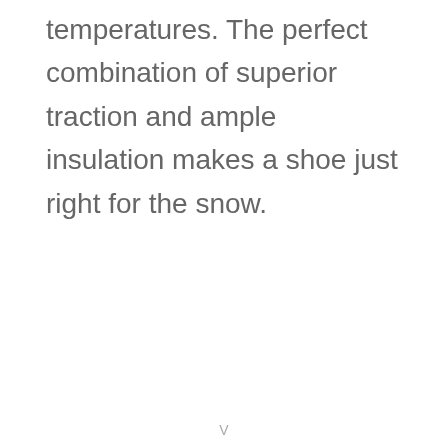temperatures. The perfect combination of superior traction and ample insulation makes a shoe just right for the snow.
V